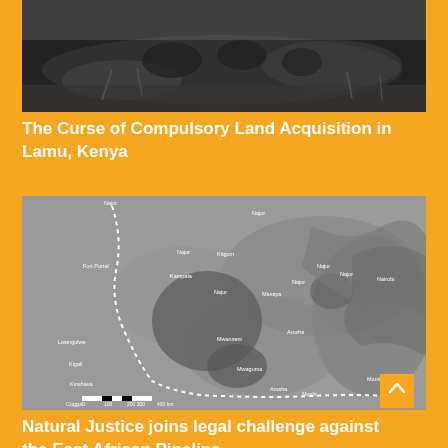[Figure (photo): Black and white historical photograph showing people in a field or rural landscape]
The Curse of Compulsory Land Acquisition in Lamu, Kenya
[Figure (map): Grayscale satellite/aerial map showing a region of East Africa with dotted route line, place names including Fort Portal, Kampala, Mwanza, Arusha, Mombasa, and a scale bar at the bottom]
Natural Justice joins legal challenge against the East African Pipeline...